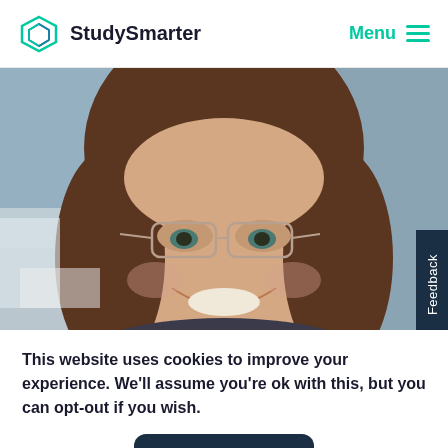StudySmarter  Menu
[Figure (photo): Close-up photo of a smiling young woman with brown hair and thin-framed glasses, blurred background]
This website uses cookies to improve your experience. We'll assume you're ok with this, but you can opt-out if you wish.
Accept